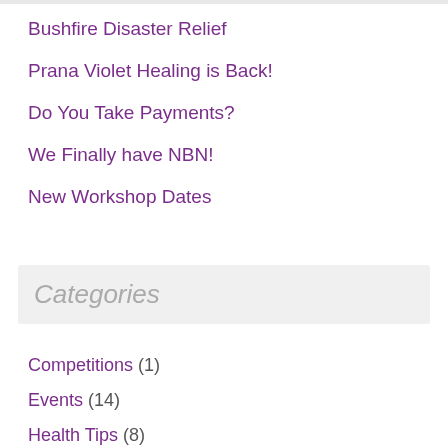Bushfire Disaster Relief
Prana Violet Healing is Back!
Do You Take Payments?
We Finally have NBN!
New Workshop Dates
Categories
Competitions (1)
Events (14)
Health Tips (8)
Natural alternatives (5)
Personal insights (3)